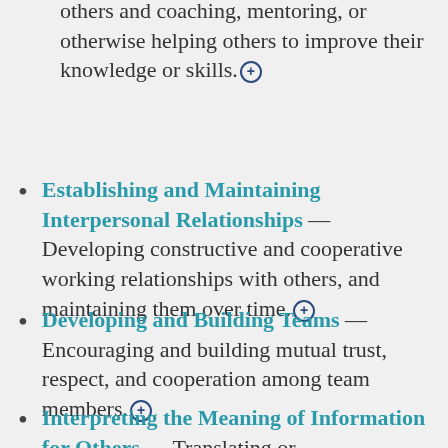others and coaching, mentoring, or otherwise helping others to improve their knowledge or skills.⊕
Establishing and Maintaining Interpersonal Relationships — Developing constructive and cooperative working relationships with others, and maintaining them over time.⊕
Developing and Building Teams — Encouraging and building mutual trust, respect, and cooperation among team members.⊕
Interpreting the Meaning of Information for Others — Translating or